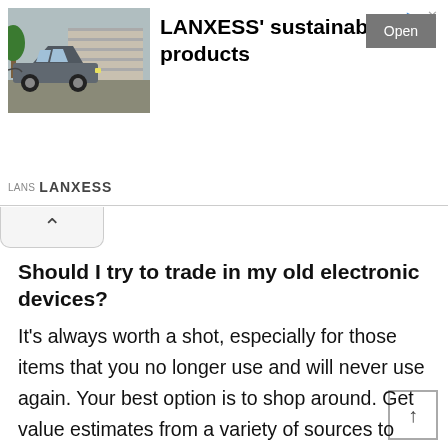[Figure (screenshot): Advertisement banner for LANXESS sustainable products showing a car in front of a garage, with an 'Open' button and LANXESS logo]
Should I try to trade in my old electronic devices?
It’s always worth a shot, especially for those items that you no longer use and will never use again. Your best option is to shop around. Get value estimates from a variety of sources to see which one is willing to give you the most in exchange. It’s also smart to choose trade in programs that will give you a benefit that you’ll definitely be able to use.